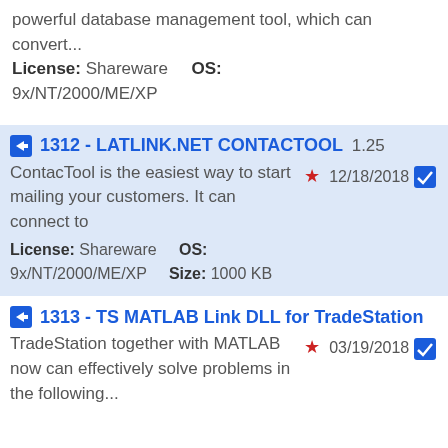powerful database management tool, which can convert... License: Shareware    OS: 9x/NT/2000/ME/XP
1312 - LATLINK.NET CONTACTOOL 1.25
ContacTool is the easiest way to start mailing your customers. It can connect to
License: Shareware    OS: 9x/NT/2000/ME/XP    Size: 1000 KB
12/18/2018
1313 - TS MATLAB Link DLL for TradeStation
TradeStation together with MATLAB now can effectively solve problems in the following...
03/19/2018